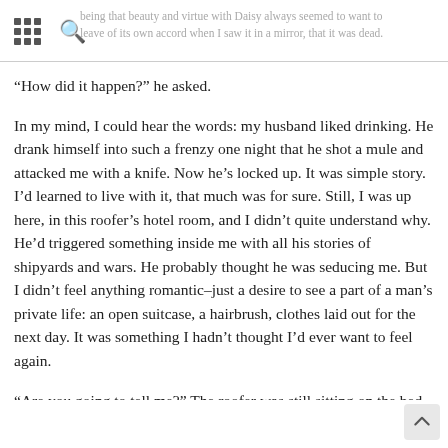being that beauty and virtue with Daisy always seemed to want to leave of its own accord when I saw it in a mirror, that it was dead.
“How did it happen?” he asked.
In my mind, I could hear the words: my husband liked drinking. He drank himself into such a frenzy one night that he shot a mule and attacked me with a knife. Now he’s locked up. It was simple story. I’d learned to live with it, that much was for sure. Still, I was up here, in this roofer’s hotel room, and I didn’t quite understand why. He’d triggered something inside me with all his stories of shipyards and wars. He probably thought he was seducing me. But I didn’t feel anything romantic–just a desire to see a part of a man’s private life: an open suitcase, a hairbrush, clothes laid out for the next day. It was something I hadn’t thought I’d ever want to feel again.
“Are you going to tell me?” The roofer was still sitting on the bed, but he wasn’t smiling anymore. I wanted to tell him, so badly. If I told him, though, the words would leave my mouth and never come back, and I felt that I would never again be able to choose when I could be silent.